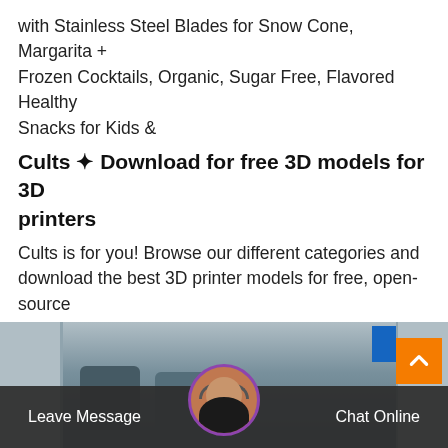with Stainless Steel Blades for Snow Cone, Margarita + Frozen Cocktails, Organic, Sugar Free, Flavored Healthy Snacks for Kids &
Cults ✦ Download for free 3D models for 3D printers
Cults is for you! Browse our different categories and download the best 3D printer models for free, open-source or paid mode, in .STL, .OBJ or .SCAD format, they are all 3D printable guaranteed. We are connecting 3D print files makers with people who want to use their 3D printer. Our 3D model repository acts as a real source of inspiration
[Figure (photo): Industrial facility interior with large silos/tanks inside a warehouse building]
Leave Message
Chat Online